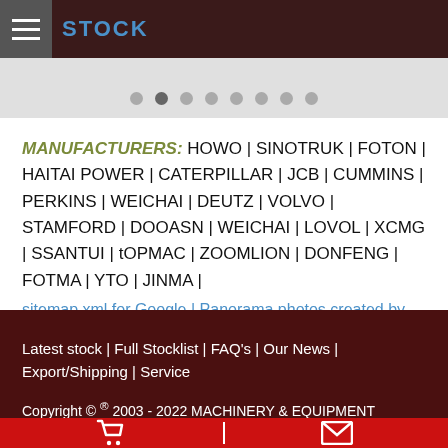STOCK
MANUFACTURERS: HOWO | SINOTRUK | FOTON | HAITAI POWER | CATERPILLAR | JCB | CUMMINS | PERKINS | WEICHAI | DEUTZ | VOLVO | STAMFORD | DOOASN | WEICHAI | LOVOL | XCMG | SSANTUI | tOPMAC | ZOOMLION | DONFENG | FOTMA | YTO | JINMA |
sitemap.xml for Google | Panorama photos created by wirestock - www.freepik.com
Latest stock | Full Stocklist | FAQ's | Our News | Export/Shipping | Service
Copyright © ® 2003 - 2022 MACHINERY & EQUIPMENT DISPOSALS All rights reserved | Security Policy | Website Terms | SITEMAP
NOTE! This site uses cookies and similar technologies...